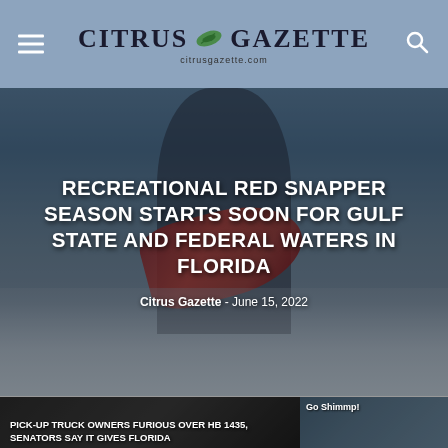Citrus Gazette — citrusgazette.com
[Figure (photo): Woman on a boat holding a large red snapper fish, with ocean water visible in the background. Dark overlay applied over the image for text readability.]
RECREATIONAL RED SNAPPER SEASON STARTS SOON FOR GULF STATE AND FEDERAL WATERS IN FLORIDA
Citrus Gazette - June 15, 2022
[Figure (photo): Partially visible image below main hero, showing a dark background with text overlay for a secondary article about pick-up truck owners.]
PICK-UP TRUCK OWNERS FURIOUS OVER HB 1435, SENATORS SAY IT GIVES FLORIDA
[Figure (photo): Smaller image on the right side of the bottom section, partially cut off, appears to show a fishing-related scene.]